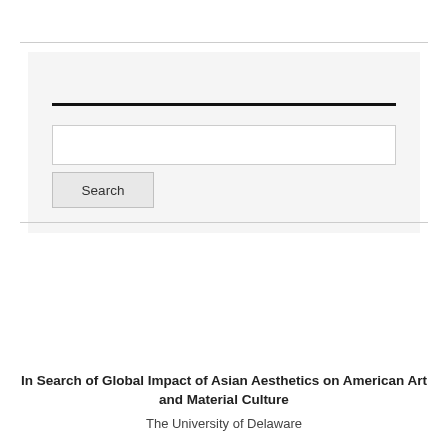SEARCH THIS SITE:
[Figure (screenshot): Search widget with a text input field and a Search button on a light gray background]
In Search of Global Impact of Asian Aesthetics on American Art and Material Culture
The University of Delaware